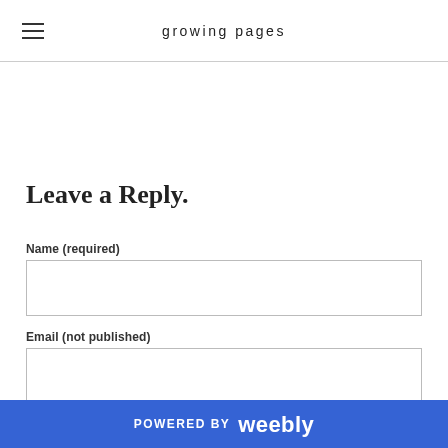growing pages
Leave a Reply.
Name (required)
Email (not published)
Website
POWERED BY weebly